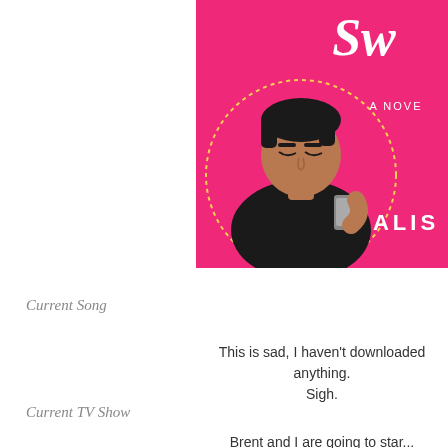[Figure (illustration): Book cover with hot pink background showing an illustrated man with dark hair looking at his phone, inside a dotted circle. Text visible includes cursive 'Sw...' at top, 'A NOVE...' in white, and 'ALIS...' in white capitals at bottom right.]
Current Song
This is sad, I haven't downloaded anything. Sigh.
Current TV Show
Brent and I are going to star...